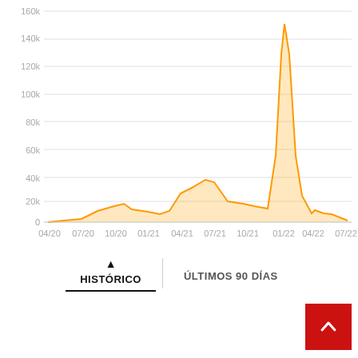[Figure (area-chart): ]
HISTÓRICO | ÚLTIMOS 90 DÍAS